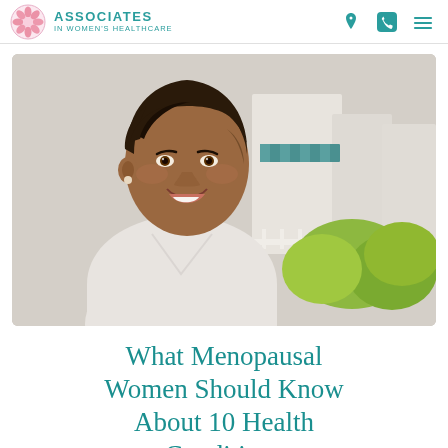ASSOCIATES IN WOMEN'S HEALTHCARE
[Figure (photo): Smiling middle-aged woman with short brown hair wearing a white top, standing outdoors near a porch with green foliage in the background.]
What Menopausal Women Should Know About 10 Health Conditions